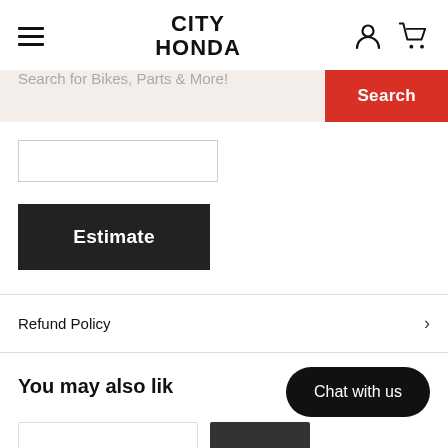CITY HONDA
Search for Bikes, Parts & More!
Search
Estimate
Refund Policy
You may also like
Chat with us